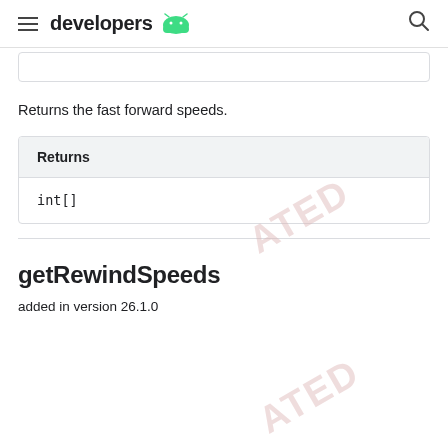developers
Returns the fast forward speeds.
| Returns |
| --- |
| int[] |
getRewindSpeeds
added in version 26.1.0